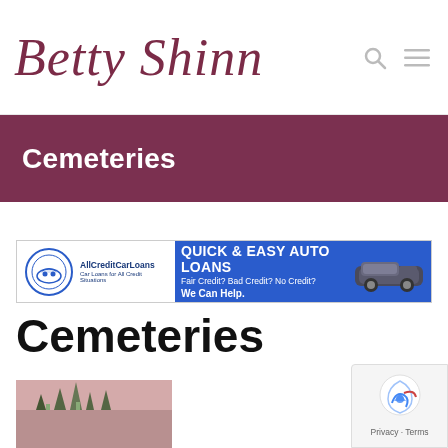Betty Shinn
Cemeteries
[Figure (other): AllCreditCarLoans advertisement banner: QUICK & EASY AUTO LOANS. Fair Credit? Bad Credit? No Credit? We Can Help.]
Cemeteries
[Figure (photo): Photo of a cemetery with trees and pink/reddish sky]
[Figure (other): Google reCAPTCHA badge with Privacy and Terms links]